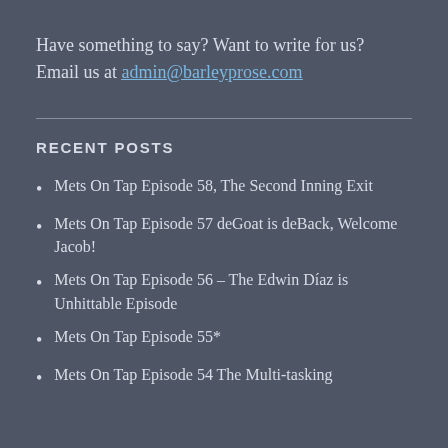Have something to say? Want to write for us? Email us at admin@barleyprose.com
RECENT POSTS
Mets On Tap Episode 58, The Second Inning Exit
Mets On Tap Episode 57 deGoat is deBack, Welcome Jacob!
Mets On Tap Episode 56 – The Edwin Díaz is Unhittable Episode
Mets On Tap Episode 55*
Mets On Tap Episode 54 The Multi-tasking